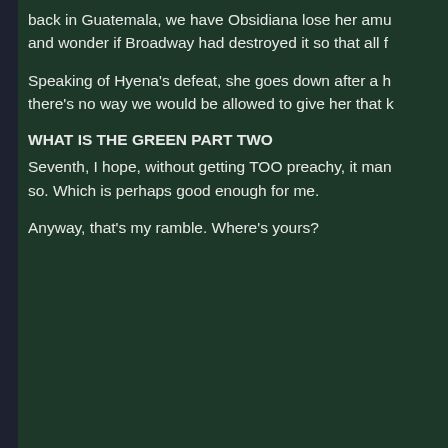back in Guatemala, we have Obsidiana lose her amu and wonder if Broadway had destroyed it so that all f
Speaking of Hyena's defeat, she goes down after a h there's no way we would be allowed to give her that k
WHAT IS THE GREEN PART TWO
Seventh, I hope, without getting TOO preachy, it man so. Which is perhaps good enough for me.
Anyway, that's my ramble. Where's yours?
Question re
freaked writes...
Demona Taina writes...
Greg, I'm glad to hear that you're okay. I hope your fa
Well, I just dropped by to let you know of something. yesterday so I searched in the episode Future Tense destroyed yesterday, and I couldn't find it. You could Liberty, right? Well, they weren't there. Scary, huh?